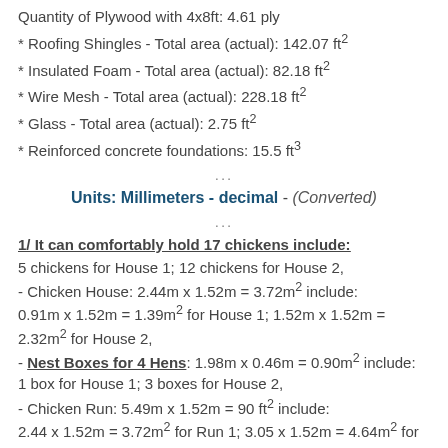Quantity of Plywood with 4x8ft: 4.61 ply
* Roofing Shingles - Total area (actual): 142.07 ft²
* Insulated Foam - Total area (actual): 82.18 ft²
* Wire Mesh - Total area (actual): 228.18 ft²
* Glass - Total area (actual): 2.75 ft²
* Reinforced concrete foundations: 15.5 ft³
...
Units: Millimeters - decimal - (Converted)
...
1/ It can comfortably hold 17 chickens include:
5 chickens for House 1; 12 chickens for House 2,
- Chicken House: 2.44m x 1.52m = 3.72m² include: 0.91m x 1.52m = 1.39m² for House 1; 1.52m x 1.52m = 2.32m² for House 2,
- Nest Boxes for 4 Hens: 1.98m x 0.46m = 0.90m² include: 1 box for House 1; 3 boxes for House 2,
- Chicken Run: 5.49m x 1.52m = 90 ft² include: 2.44 x 1.52m = 3.72m² for Run 1; 3.05 x 1.52m = 4.64m² for Run 2
- Cabinet: 1.98m x 0.46m = 0.90m²
Maximum height: 2.73m
Construction area: 10.13m² (The area for building